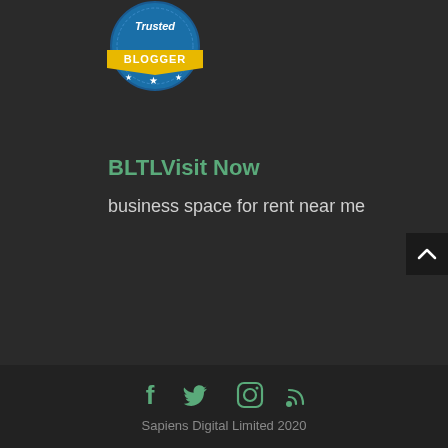[Figure (logo): Trusted Blogger badge/logo — circular blue badge with gold banner reading BLOGGER and italic text 'Trusted' at top, stars at bottom]
BLTLVisit Now
business space for rent near me
[Figure (other): Back-to-top arrow button (dark background with white up-chevron)]
[Figure (other): Social media icons row: Facebook, Twitter, Instagram, RSS feed — all in green]
Sapiens Digital Limited 2020